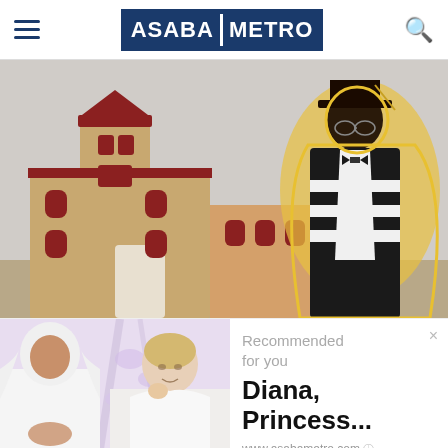ASABA METRO
[Figure (photo): Photo of a red and beige colonial-style church building with a tower, and a man in academic graduation robes and hat standing in the foreground on the right side, with a yellow outline around him.]
[Figure (photo): Advertisement overlay showing two women in white clothing — one wearing a white hijab on the left, one woman on the right — with text 'Recommended for you', 'Diana, Princess...' and 'www.asabametro.com']
Recommended for you
Diana, Princess...
www.asabametro.com